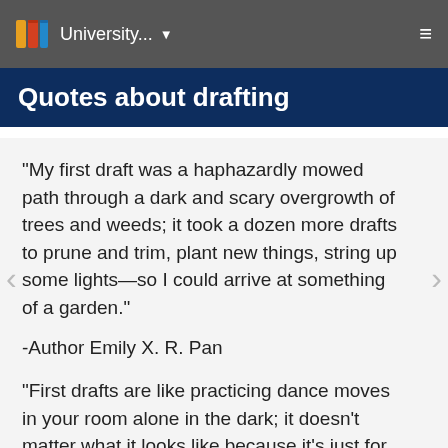University... ☰
Quotes about drafting
"My first draft was a haphazardly mowed path through a dark and scary overgrowth of trees and weeds; it took a dozen more drafts to prune and trim, plant new things, string up some lights—so I could arrive at something of a garden."
-Author Emily X. R. Pan
"First drafts are like practicing dance moves in your room alone in the dark; it doesn't matter what it looks like because it's just for